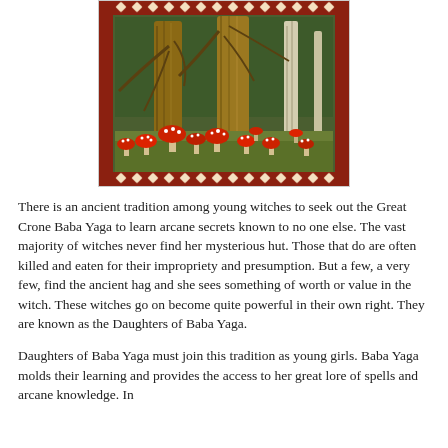[Figure (illustration): A decorative illustration showing a forest scene with large tree trunks, drooping branches, and numerous red-capped mushrooms (amanita) scattered across a green forest floor. The image has an ornate red and white geometric border pattern on all sides, in the style of Eastern European folk art.]
There is an ancient tradition among young witches to seek out the Great Crone Baba Yaga to learn arcane secrets known to no one else.  The vast majority of witches never find her mysterious hut. Those that do are often killed and eaten for their impropriety and presumption.  But a few, a very few, find the ancient hag and she sees something of worth or value in the witch.  These witches go on become quite powerful in their own right.  They are known as the Daughters of Baba Yaga.
Daughters of Baba Yaga must join this tradition as young girls.  Baba Yaga molds their learning and provides the access to her great lore of spells and arcane knowledge.  In